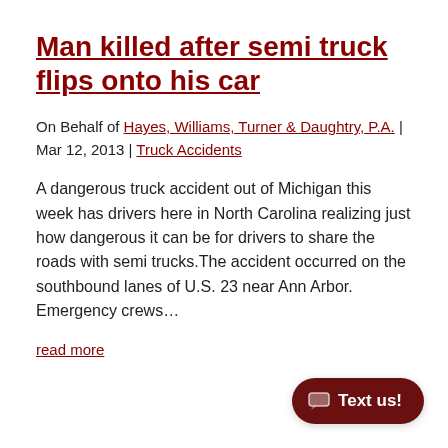Man killed after semi truck flips onto his car
On Behalf of Hayes, Williams, Turner & Daughtry, P.A. | Mar 12, 2013 | Truck Accidents
A dangerous truck accident out of Michigan this week has drivers here in North Carolina realizing just how dangerous it can be for drivers to share the roads with semi trucks.The accident occurred on the southbound lanes of U.S. 23 near Ann Arbor. Emergency crews...
read more